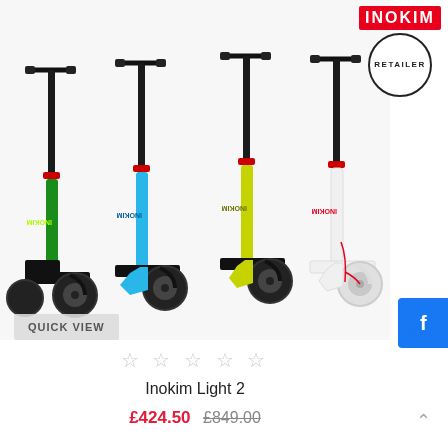[Figure (photo): Four Inokim Light 2 electric scooters displayed side by side in different colors: black/green, blue, lime/yellow-green, and white/red. Each scooter has the INOKIM branding on the vertical pole and handlebars at top.]
[Figure (logo): INOKIM logo in red rectangle with 'RETAILER' text in black circle underneath]
QUICK VIEW
☆ ☆ ☆ ☆ ☆
Inokim Light 2
£424.50  £849.00